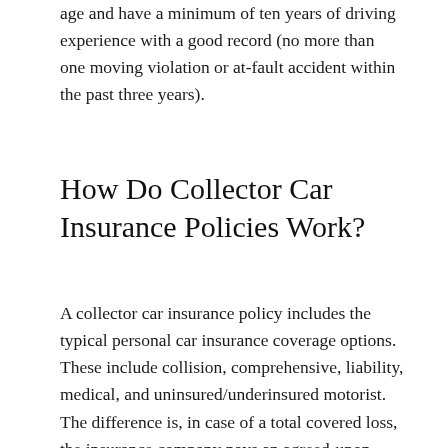age and have a minimum of ten years of driving experience with a good record (no more than one moving violation or at-fault accident within the past three years).
How Do Collector Car Insurance Policies Work?
A collector car insurance policy includes the typical personal car insurance coverage options. These include collision, comprehensive, liability, medical, and uninsured/underinsured motorist. The difference is, in case of a total covered loss, the insurance company pays an agreed-upon value,